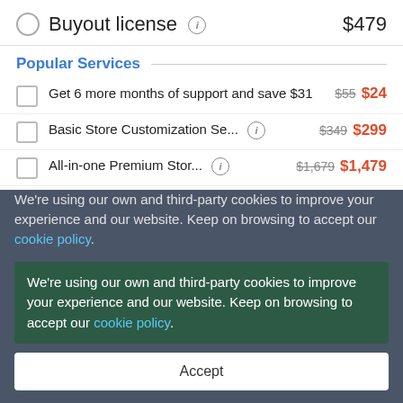Buyout license  $479
Popular Services
Get 6 more months of support and save $31  $55  $24
Basic Store Customization Se...  $349  $299
All-in-one Premium Stor...  $1,679  $1,479
Business Startup Kit  $399  $359
Installation & Setup  $49
Dropshipping Setup  $199
We're using our own and third-party cookies to improve your experience and our website. Keep on browsing to accept our cookie policy.
Accept